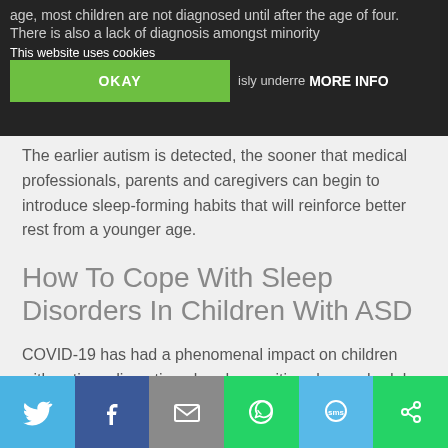age, most children are not diagnosed until after the age of four. There is also a lack of diagnosis amongst minority [groups] ... seriously underrepresented.
This website uses cookies
OKAY   MORE INFO
The earlier autism is detected, the sooner that medical professionals, parents and caregivers can begin to introduce sleep-forming habits that will reinforce better rest from a younger age.
How To Cope With Sleep Disorders In Children With ASD
COVID-19 has had a phenomenal impact on children with autism, disrupting already sensitive sleep schedules and further heightening the anxiety they feel daily.